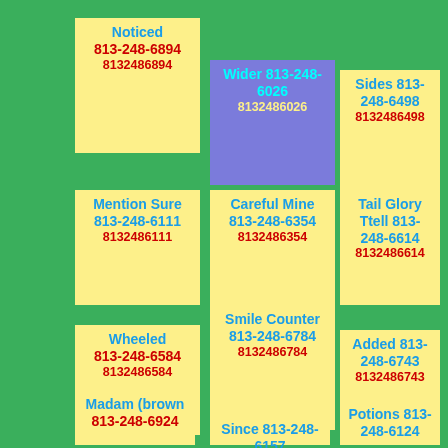[Figure (infographic): Green background with colored sticky-note cards containing business names and phone numbers arranged in a grid.]
Noticed 813-248-6894 8132486894
Wider 813-248-6026 8132486026
Sides 813-248-6498 8132486498
Mention Sure 813-248-6111 8132486111
Careful Mine 813-248-6354 8132486354
Tail Glory Ttell 813-248-6614 8132486614
Wheeled 813-248-6584 8132486584
Smile Counter 813-248-6784 8132486784
Added 813-248-6743 8132486743
Madam (brown 813-248-6924
Since 813-248-6157
Potions 813-248-6124